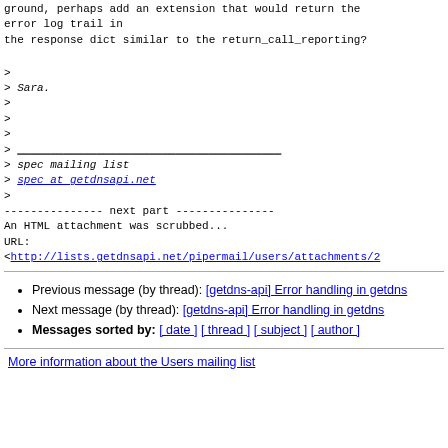ground, perhaps add an extension that would return the error log trail in
the response dict similar to the return_call_reporting?
>
> Sara.
>
>
>
>
> ________________________________________
> spec mailing list
> spec at getdnsapi.net
>
--------------- next part ---------------
An HTML attachment was scrubbed...
URL:
<http://lists.getdnsapi.net/pipermail/users/attachments/2
Previous message (by thread): [getdns-api] Error handling in getdns
Next message (by thread): [getdns-api] Error handling in getdns
Messages sorted by: [ date ] [ thread ] [ subject ] [ author ]
More information about the Users mailing list